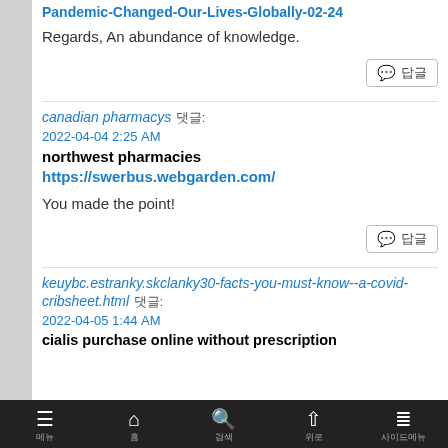Pandemic-Changed-Our-Lives-Globally-02-24
Regards, An abundance of knowledge.
canadian pharmacys 댓글: 2022-04-04 2:25 AM
northwest pharmacies https://swerbus.webgarden.com/
You made the point!
keuybc.estranky.skclanky30-facts-you-must-know--a-covid-cribsheet.html 댓글: 2022-04-05 1:44 AM
cialis purchase online without prescription
메뉴  홈  검색  위로  사이드메뉴